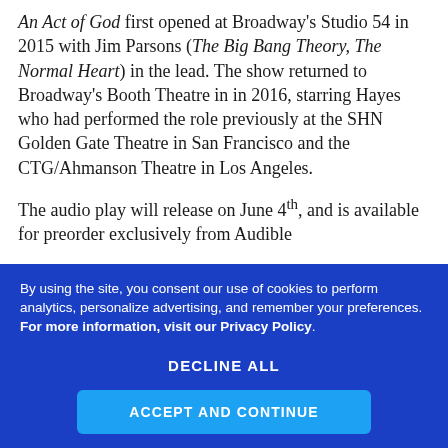An Act of God first opened at Broadway's Studio 54 in 2015 with Jim Parsons (The Big Bang Theory, The Normal Heart) in the lead. The show returned to Broadway's Booth Theatre in in 2016, starring Hayes who had performed the role previously at the SHN Golden Gate Theatre in San Francisco and the CTG/Ahmanson Theatre in Los Angeles.
The audio play will release on June 4th, and is available for preorder exclusively from Audible
By using the site, you consent our use of cookies to perform analytics, personalize advertising, and remember your preferences. For more information, visit our Privacy Policy.
DECLINE ALL
ACCEPT AND CONTINUE